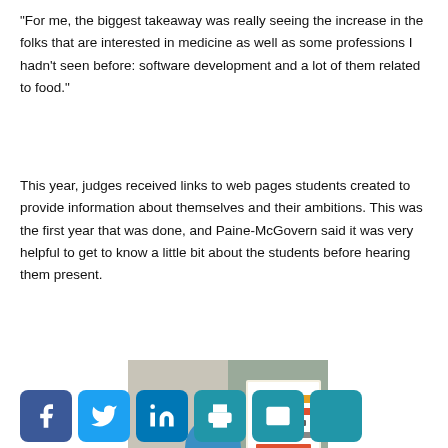“For me, the biggest takeaway was really seeing the increase in the folks that are interested in medicine as well as some professions I hadn’t seen before: software development and a lot of them related to food.”
This year, judges received links to web pages students created to provide information about themselves and their ambitions. This was the first year that was done, and Paine-McGovern said it was very helpful to get to know a little bit about the students before hearing them present.
[Figure (photo): A young man in a blue polo shirt standing in front of a science fair display board reading 'PAIN RELIEF IN ITS RAREST FORM']
[Figure (other): Social media sharing buttons: Facebook, Twitter, LinkedIn, Print, Email, More]